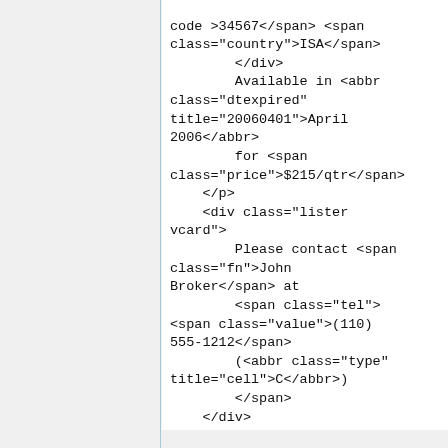code >34567</span> <span class="country">ISA</span>
        </div>
        Available in <abbr class="dtexpired" title="20060401">April 2006</abbr>
        for <span class="price">$215/qtr</span>
    </p>
    <div class="lister vcard">
        Please contact <span class="fn">John Broker</span> at
        <span class="tel"><span class="value">(110) 555-1212</span>
        (<abbr class="type" title="cell">C</abbr>)
        </span>
    </div>
</div>